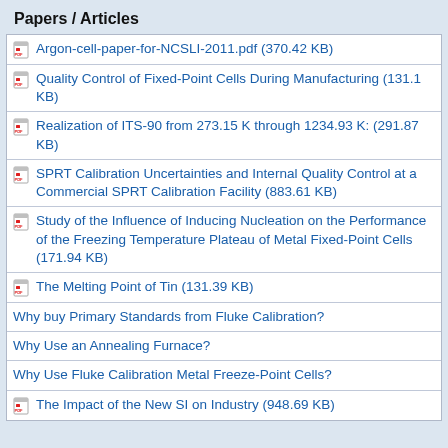Papers / Articles
Argon-cell-paper-for-NCSLI-2011.pdf (370.42 KB)
Quality Control of Fixed-Point Cells During Manufacturing (131.1 KB)
Realization of ITS-90 from 273.15 K through 1234.93 K: (291.87 KB)
SPRT Calibration Uncertainties and Internal Quality Control at a Commercial SPRT Calibration Facility (883.61 KB)
Study of the Influence of Inducing Nucleation on the Performance of the Freezing Temperature Plateau of Metal Fixed-Point Cells (171.94 KB)
The Melting Point of Tin (131.39 KB)
Why buy Primary Standards from Fluke Calibration?
Why Use an Annealing Furnace?
Why Use Fluke Calibration Metal Freeze-Point Cells?
The Impact of the New SI on Industry (948.69 KB)